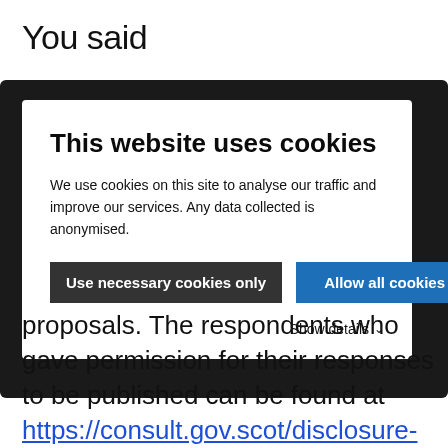You said
[Figure (screenshot): Cookie consent modal popup on a government website. Contains title 'This website uses cookies', body text 'We use cookies on this site to analyse our traffic and improve our services. Any data collected is anonymised.', two buttons: 'Use necessary cookies only' (dark/black background) and 'Allow all cookies' (blue background), and a 'Show details' link with chevron.]
proposals. The respondents who gave permission for their responses to be published can be found at https://consult.gov.scot/disclosure-scotland/protection-of-vulnerable/consultation/published_select_responde